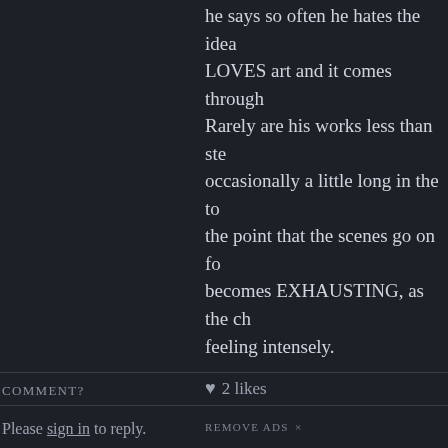he says so often he hates the idea LOVES art and it comes through Rarely are his works less than ste occasionally a little long in the to the point that the scenes go on fo becomes EXHAUSTING, as the ch feeling intensely.
♥ 2 likes
REMOVE ADS ×
COMMENT?
Please sign in to reply.